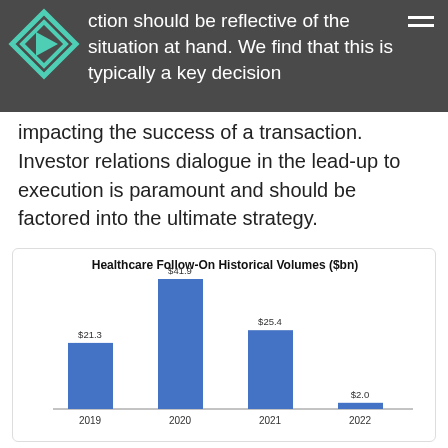ction should be reflective of the situation at hand. We find that this is typically a key decision
impacting the success of a transaction. Investor relations dialogue in the lead-up to execution is paramount and should be factored into the ultimate strategy.
[Figure (bar-chart): Healthcare Follow-On Historical Volumes ($bn)]